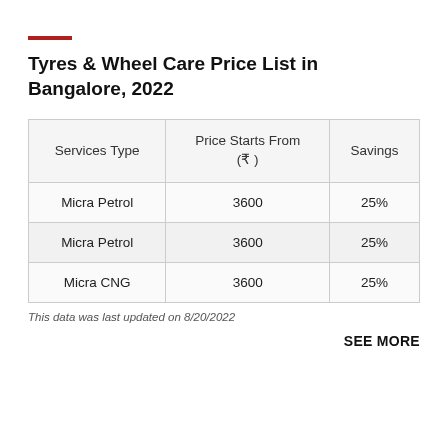Tyres & Wheel Care Price List in Bangalore, 2022
| Services Type | Price Starts From (₹) | Savings |
| --- | --- | --- |
| Micra Petrol | 3600 | 25% |
| Micra Petrol | 3600 | 25% |
| Micra CNG | 3600 | 25% |
This data was last updated on 8/20/2022
SEE MORE